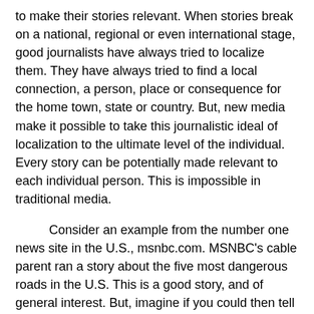to make their stories relevant. When stories break on a national, regional or even international stage, good journalists have always tried to localize them. They have always tried to find a local connection, a person, place or consequence for the home town, state or country. But, new media make it possible to take this journalistic ideal of localization to the ultimate level of the individual. Every story can be potentially made relevant to each individual person. This is impossible in traditional media.
Consider an example from the number one news site in the U.S., msnbc.com. MSNBC's cable parent ran a story about the five most dangerous roads in the U.S. This is a good story, and of general interest. But, imagine if you could then tell the viewer, every viewer, about the most dangerous roads in their home town or even their neighborhood. MSNBC.com did just that by taking public records from the National Traffic Safety Administration and putting a simple zip code (postal code, but it could have been a street address, intersection or landmark) interface on the database, and allowed every person who visited the MSNBC.com Web site to enter